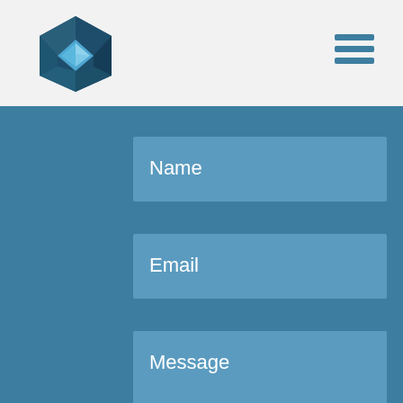[Figure (logo): Hexagonal geometric logo in dark teal/navy with blue triangle shape inside]
[Figure (other): Hamburger menu icon with three horizontal lines in teal/blue]
Name
Email
Message
CAPTCHA
This question is for testing whether or not you are a human